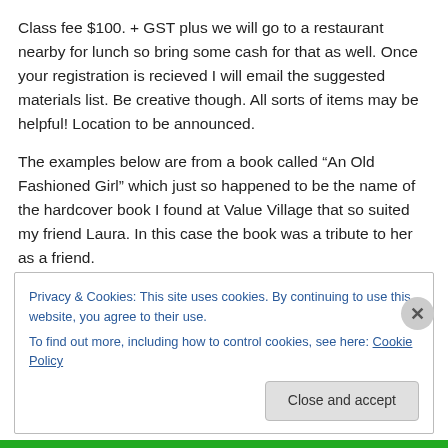Class fee $100. + GST plus we will go to a restaurant nearby for lunch so bring some cash for that as well. Once your registration is recieved I will email the suggested materials list. Be creative though. All sorts of items may be helpful! Location to be announced.
The examples below are from a book called “An Old Fashioned Girl” which just so happened to be the name of the hardcover book I found at Value Village that so suited my friend Laura. In this case the book was a tribute to her as a friend.
Privacy & Cookies: This site uses cookies. By continuing to use this website, you agree to their use.
To find out more, including how to control cookies, see here: Cookie Policy
[Close and accept]